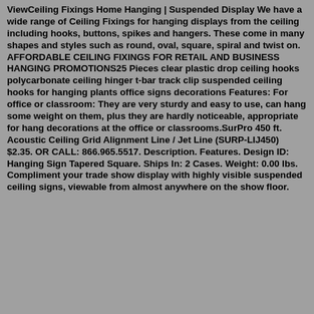ViewCeiling Fixings Home Hanging | Suspended Display We have a wide range of Ceiling Fixings for hanging displays from the ceiling including hooks, buttons, spikes and hangers. These come in many shapes and styles such as round, oval, square, spiral and twist on. AFFORDABLE CEILING FIXINGS FOR RETAIL AND BUSINESS HANGING PROMOTIONS25 Pieces clear plastic drop ceiling hooks polycarbonate ceiling hinger t-bar track clip suspended ceiling hooks for hanging plants office signs decorations Features: For office or classroom: They are very sturdy and easy to use, can hang some weight on them, plus they are hardly noticeable, appropriate for hang decorations at the office or classrooms.SurPro 450 ft. Acoustic Ceiling Grid Alignment Line / Jet Line (SURP-LIJ450) $2.35. OR CALL: 866.965.5517. Description. Features. Design ID: Hanging Sign Tapered Square. Ships In: 2 Cases. Weight: 0.00 lbs. Compliment your trade show display with highly visible suspended ceiling signs, viewable from almost anywhere on the show floor.